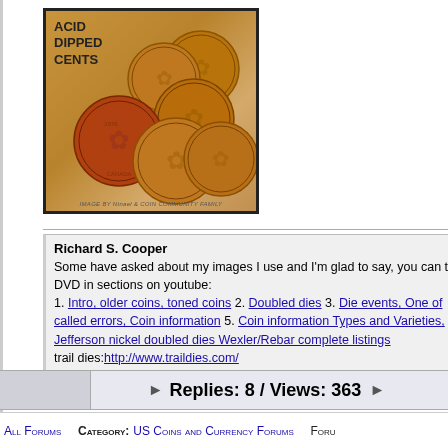[Figure (photo): Photo of acid dipped Canadian cents (coins) with text label 'ACID DIPPED CENTS' and image credit 'IMAGE BY Ntnael & COIN COMMUNITY FAMILY']
Richard S. Cooper
Some have asked about my images I use and I'm glad to say, you can the DVD in sections on youtube:
1. Intro, older coins, toned coins 2. Doubled dies 3. Die events, One of called errors, Coin information 5. Coin information Types and Varieties, Jefferson nickel doubled dies Wexler/Rebar complete listings
trail dies:http://www.traildies.com/
Report
Replies: 8 / Views: 363
All Forums   Category: US Coins and Currency Forums   Foru